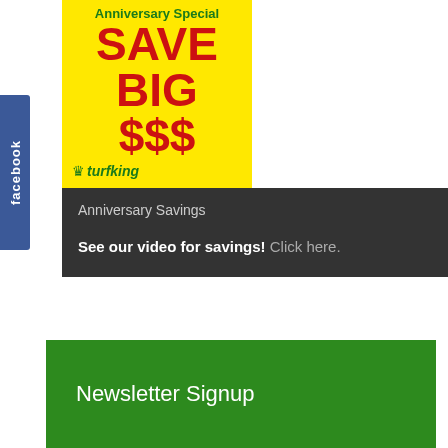[Figure (illustration): Yellow promotional ad box with 'Anniversary Special', 'SAVE BIG $$$' in red, and Turf King logo in green]
[Figure (logo): Facebook tab/button on left side in blue with white 'facebook' text rotated vertically]
Anniversary Savings
See our video for savings! Click here.
Newsletter Signup